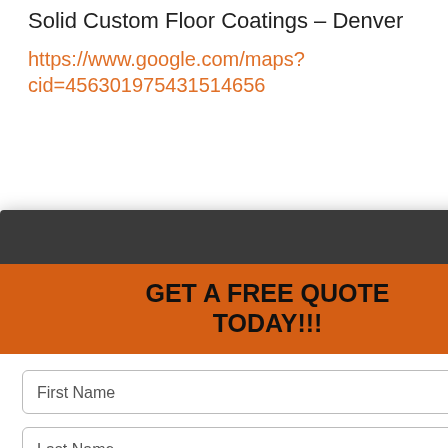Solid Custom Floor Coatings – Denver
https://www.google.com/maps?cid=456301975431514656
, Parker, CO 80134
oatings.com/
[Figure (screenshot): A modal popup overlay showing a lead capture form with orange 'GET A FREE QUOTE TODAY!!!' header, form fields for First Name, Last Name, Phone Number, Email, a yellow SUBMIT button, and a 'VOID WHERE PROHIBITED.' footer disclaimer on a dark gray top bar.]
oatings
mpany, Best Epoxy Company
pany near me, Best Epoxy
y Flooring Business Denver
ness near me, Best Epoxy
Flooring C...